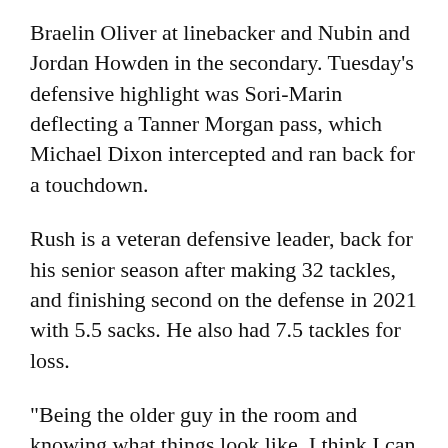Braelin Oliver at linebacker and Nubin and Jordan Howden in the secondary. Tuesday's defensive highlight was Sori-Marin deflecting a Tanner Morgan pass, which Michael Dixon intercepted and ran back for a touchdown.
Rush is a veteran defensive leader, back for his senior season after making 32 tackles, and finishing second on the defense in 2021 with 5.5 sacks. He also had 7.5 tackles for loss.
"Being the older guy in the room and knowing what things look like, I think I can help guys understand how that works. I emphasize to the guys, everyone in the D-line room, we're all together," Rush said. "Each guy has got to hold everyone responsible."
The Gophers' next practice open to the public is set for